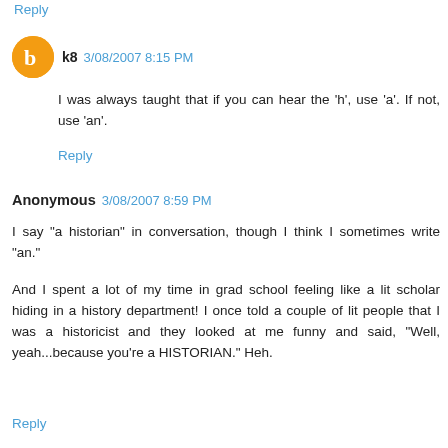Reply
k8  3/08/2007 8:15 PM
I was always taught that if you can hear the 'h', use 'a'. If not, use 'an'.
Reply
Anonymous  3/08/2007 8:59 PM
I say "a historian" in conversation, though I think I sometimes write "an."
And I spent a lot of my time in grad school feeling like a lit scholar hiding in a history department! I once told a couple of lit people that I was a historicist and they looked at me funny and said, "Well, yeah...because you're a HISTORIAN." Heh.
Reply